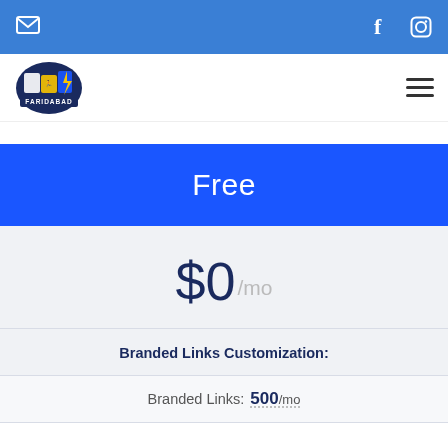Email | Facebook | Instagram
[Figure (logo): Faridabad Triathlon club logo with shield shape, athletic figures, and text FARIDABAD]
Free
$0/mo
Branded Links Customization:
Branded Links: 500/mo